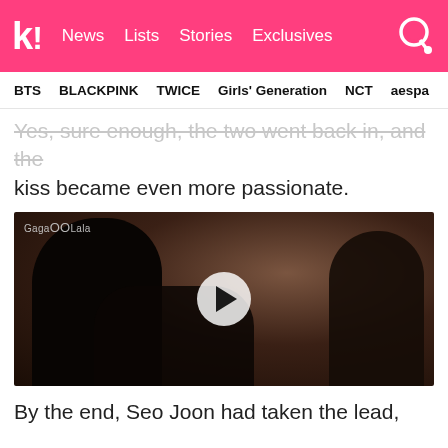k! News  Lists  Stories  Exclusives
BTS  BLACKPINK  TWICE  Girls' Generation  NCT  aespa
Yes, sure enough, the two went back in, and the kiss became even more passionate.
[Figure (photo): Video thumbnail showing two silhouetted figures in a passionate kiss scene, with a GagaOOLala watermark in the top left and a play button overlay in the center.]
By the end, Seo Joon had taken the lead,